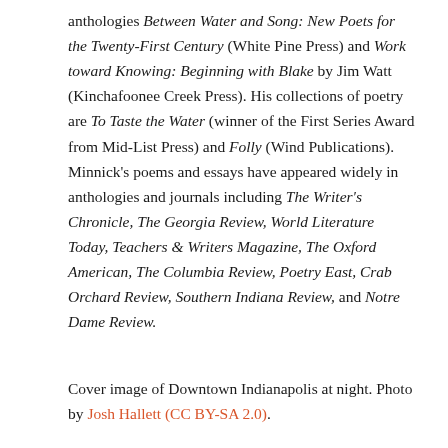anthologies Between Water and Song: New Poets for the Twenty-First Century (White Pine Press) and Work toward Knowing: Beginning with Blake by Jim Watt (Kinchafoonee Creek Press). His collections of poetry are To Taste the Water (winner of the First Series Award from Mid-List Press) and Folly (Wind Publications). Minnick's poems and essays have appeared widely in anthologies and journals including The Writer's Chronicle, The Georgia Review, World Literature Today, Teachers & Writers Magazine, The Oxford American, The Columbia Review, Poetry East, Crab Orchard Review, Southern Indiana Review, and Notre Dame Review.
Cover image of Downtown Indianapolis at night. Photo by Josh Hallett (CC BY-SA 2.0).